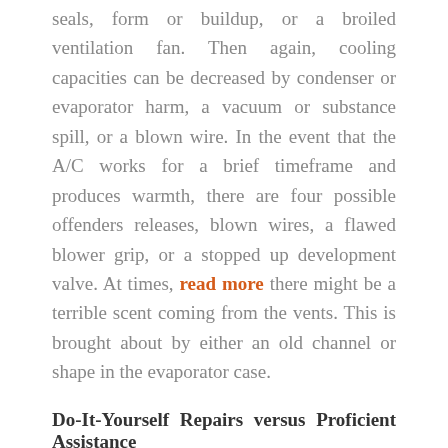seals, form or buildup, or a broiled ventilation fan. Then again, cooling capacities can be decreased by condenser or evaporator harm, a vacuum or substance spill, or a blown wire. In the event that the A/C works for a brief timeframe and produces warmth, there are four possible offenders releases, blown wires, a flawed blower grip, or a stopped up development valve. At times, read more there might be a terrible scent coming from the vents. This is brought about by either an old channel or shape in the evaporator case.
Do-It-Yourself Repairs versus Proficient Assistance
To save you time and conceivably cash,